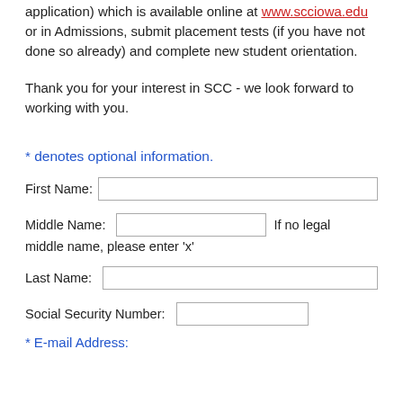application) which is available online at www.scciowa.edu or in Admissions, submit placement tests (if you have not done so already) and complete new student orientation.
Thank you for your interest in SCC - we look forward to working with you.
* denotes optional information.
First Name:
Middle Name:  If no legal middle name, please enter 'x'
Last Name:
Social Security Number:
* E-mail Address: